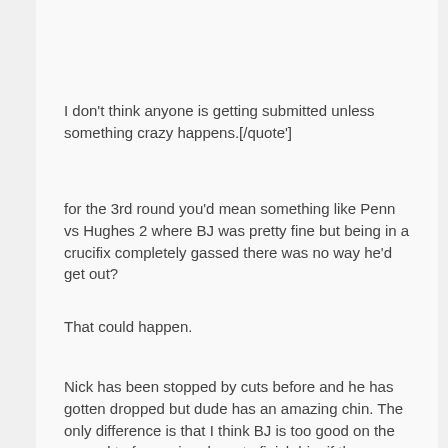I don't think anyone is getting submitted unless something crazy happens.[/quote']
for the 3rd round you'd mean something like Penn vs Hughes 2 where BJ was pretty fine but being in a crucifix completely gassed there was no way he'd get out?
That could happen.
Nick has been stopped by cuts before and he has gotten dropped but dude has an amazing chin. The only difference is that I think BJ is too good on the ground to fear going down to finish him if the opportunity happens. Also BJ has left some guys bloody messes like Stevenson/Sanchez who have much less scar tissue in the face.